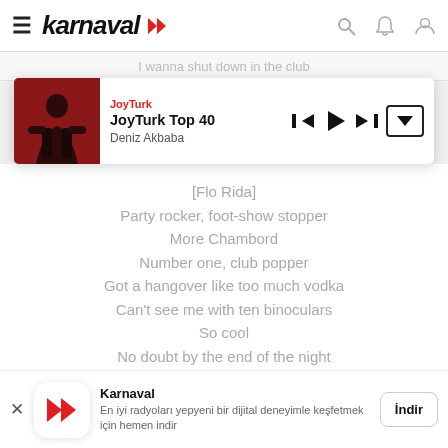karnaval
I wanna shut down in the club
[Figure (screenshot): Media player card showing JoyTurk station, JoyTurk Top 40 show, Deniz Akbaba artist, with playback controls]
[Flo Rida]
Party rocker, foot-show stopper
More Chambord
Number one, club popper
Got a hangover like too much vodka
Can't see me with ten binoculars
So cool
No doubt by the end of the night
Got the clothes coming off
Then I make that move
Somehow, someway, gotta raise the roof, roof
All black shades when the sun come through
Karnaval
En iyi radyoları yepyeni bir dijital deneyimle keşfetmek için hemen indir